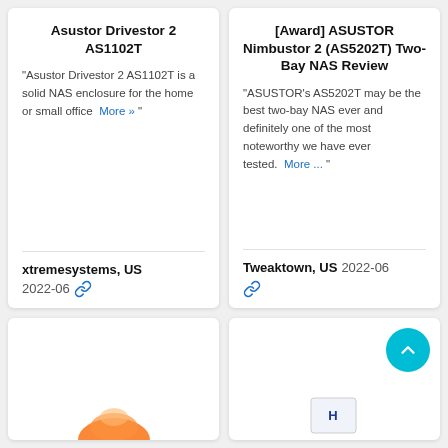Asustor Drivestor 2 AS1102T
"Asustor Drivestor 2 AS1102T is a solid NAS enclosure for the home or small office  More » "
xtremesystems, US  2022-06
[Award] ASUSTOR Nimbustor 2 (AS5202T) Two-Bay NAS Review
"ASUSTOR's AS5202T may be the best two-bay NAS ever and definitely one of the most noteworthy we have ever tested.  More ... "
Tweaktown, US  2022-06